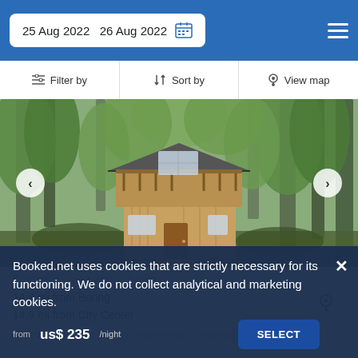25 Aug 2022  26 Aug 2022
Filter by  |  Sort by  |  View map
[Figure (photo): Photo of a two-story wooden treehouse/cabin surrounded by tall evergreen trees, with a deck on the upper level and stairs leading to the entrance.]
6 adults • 1 bedroom • 2 beds
14.9 mi from Boring
14.9 mi from City Center
offering a fully-fitted kitchen complete with a microwave, a
Booked.net uses cookies that are strictly necessary for its functioning. We do not collect analytical and marketing cookies.
from us$ 235/night  SELECT